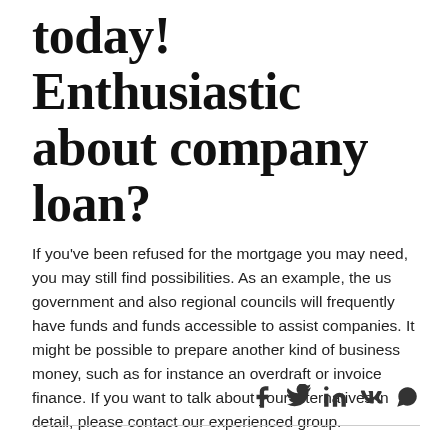today! Enthusiastic about company loan?
If you've been refused for the mortgage you may need, you may still find possibilities. As an example, the us government and also regional councils will frequently have funds and funds accessible to assist companies. It might be possible to prepare another kind of business money, such as for instance an overdraft or invoice finance. If you want to talk about your alternatives in detail, please contact our experienced group.
Click below to benefit from our Finance that is sophisticated Finder.
[Figure (infographic): Social media share icons: Facebook, Twitter, LinkedIn, VK, WhatsApp]